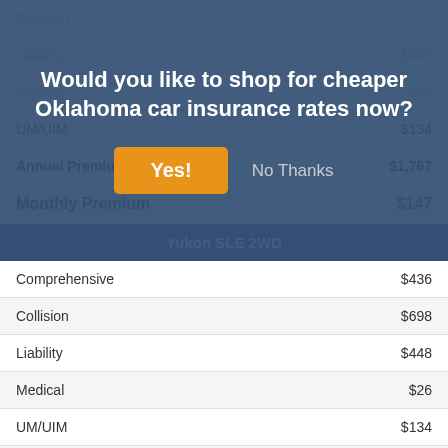Would you like to shop for cheaper Oklahoma car insurance rates now?
|  | Yukon SLE 2WD |
| --- | --- |
| Comprehensive | $436 |
| Collision | $698 |
| Liability | $448 |
| Medical | $26 |
| UM/UIM | $134 |
| Annual Premium | $1,767 |
| Monthly Premium | $147 |